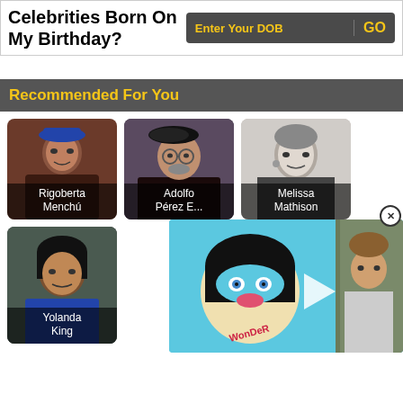Celebrities Born On My Birthday?
Enter Your DOB
GO
Recommended For You
[Figure (photo): Portrait photo of Rigoberta Menchú]
Rigoberta Menchú
[Figure (photo): Portrait photo of Adolfo Pérez E...]
Adolfo Pérez E...
[Figure (photo): Black and white portrait photo of Melissa Mathison]
Melissa Mathison
[Figure (photo): Portrait photo of Yolanda King]
Yolanda King
[Figure (illustration): Wonder movie promotional image with animated character and child actor]